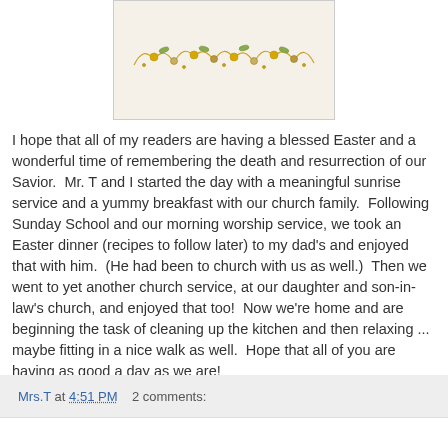[Figure (illustration): Decorative floral/botanical border illustration in gold and muted tones at the top of the page]
I hope that all of my readers are having a blessed Easter and a wonderful time of remembering the death and resurrection of our Savior.  Mr. T and I started the day with a meaningful sunrise service and a yummy breakfast with our church family.  Following Sunday School and our morning worship service, we took an Easter dinner (recipes to follow later) to my dad's and enjoyed that with him.  (He had been to church with us as well.)  Then we went to yet another church service, at our daughter and son-in-law's church, and enjoyed that too!  Now we're home and are beginning the task of cleaning up the kitchen and then relaxing ... maybe fitting in a nice walk as well.  Hope that all of you are  having as good a day as we are!
Mrs.T at 4:51 PM    2 comments: